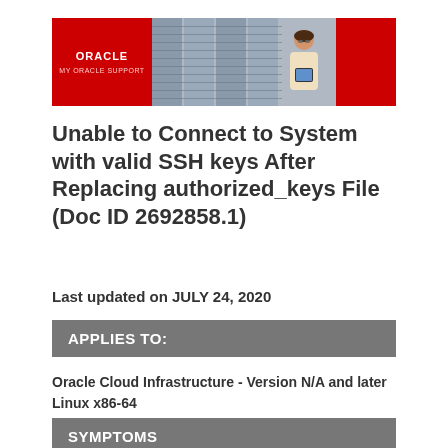[Figure (logo): My Oracle Support banner with red Oracle logo on the left, server room photo in the center, and red panel on the right]
Unable to Connect to System with valid SSH keys After Replacing authorized_keys File (Doc ID 2692858.1)
Last updated on JULY 24, 2020
APPLIES TO:
Oracle Cloud Infrastructure - Version N/A and later
Linux x86-64
SYMPTOMS